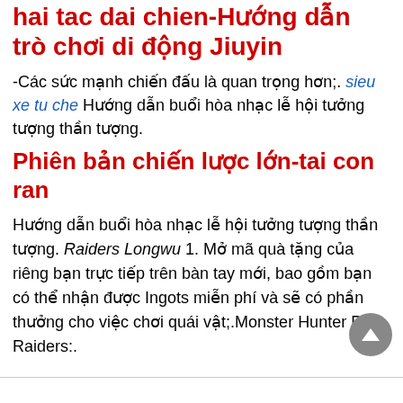hai tac dai chien-Hướng dẫn trò chơi di động Jiuyin
-Các sức mạnh chiến đấu là quan trọng hơn;. sieu xe tu che Hướng dẫn buổi hòa nhạc lễ hội tưởng tượng thần tượng.
Phiên bản chiến lược lớn-tai con ran
Hướng dẫn buổi hòa nhạc lễ hội tưởng tượng thần tượng. Raiders Longwu 1. Mở mã quà tặng của riêng bạn trực tiếp trên bàn tay mới, bao gồm bạn có thể nhận được Ingots miễn phí và sẽ có phần thưởng cho việc chơi quái vật;.Monster Hunter P1 Raiders:.